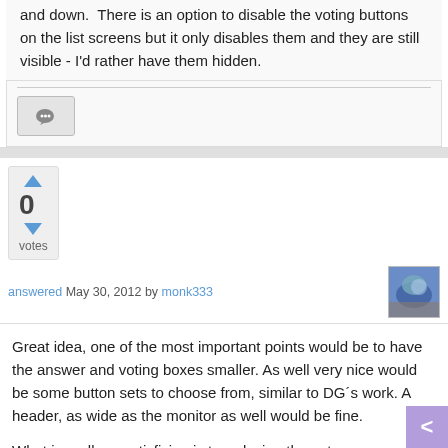and down.  There is an option to disable the voting buttons on the list screens but it only disables them and they are still visible - I'd rather have them hidden.
[Figure (screenshot): Comment/speech bubble icon button]
[Figure (infographic): Vote box showing 0 votes with up and down arrow buttons]
answered May 30, 2012 by monk333
[Figure (photo): User avatar photo for monk333]
Great idea, one of the most important points would be to have the answer and voting boxes smaller. As well very nice would be some button sets to choose from, similar to DG´s work. A header, as wide as the monitor as well would be fine.
What is really unsatisfiying is to redesign the vote buttons that could be an improvement as well.